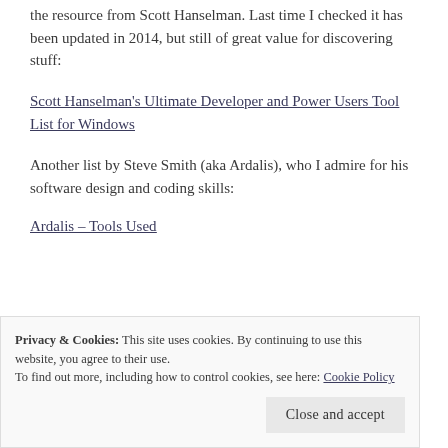the resource from Scott Hanselman. Last time I checked it has been updated in 2014, but still of great value for discovering stuff:
Scott Hanselman's Ultimate Developer and Power Users Tool List for Windows
Another list by Steve Smith (aka Ardalis), who I admire for his software design and coding skills:
Ardalis – Tools Used
Privacy & Cookies: This site uses cookies. By continuing to use this website, you agree to their use.
To find out more, including how to control cookies, see here: Cookie Policy
Close and accept